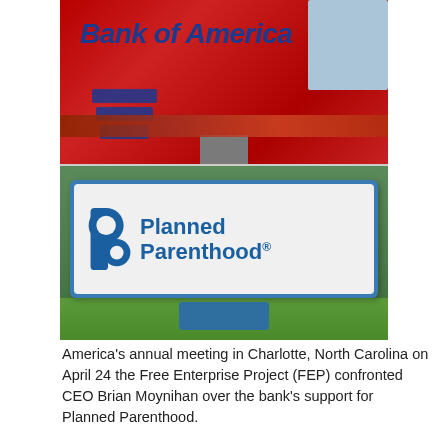[Figure (photo): Two stacked photos: top photo shows a Bank of America outdoor sign with red background and blue logo/text; bottom photo shows a Planned Parenthood outdoor sign with blue border and white background with blue logo and text, surrounded by grass.]
America's annual meeting in Charlotte, North Carolina on April 24 the Free Enterprise Project (FEP) confronted CEO Brian Moynihan over the bank's support for Planned Parenthood.